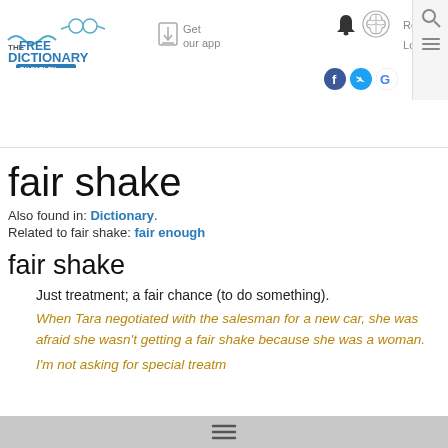[Figure (logo): The Free Dictionary by Farlex logo with stylized text and glasses icon]
[Figure (screenshot): Get our app download icon with downward arrow]
Get our app
[Figure (screenshot): Navigation icons: bell, brain, Register/Log in, Facebook, Twitter, Google, Search, Menu]
fair shake
Also found in: Dictionary.
Related to fair shake: fair enough
fair shake
Just treatment; a fair chance (to do something).
When Tara negotiated with the salesman for a new car, she was afraid she wasn't getting a fair shake because she was a woman.
I'm not asking for special treatm… just give me a fair shake at the…